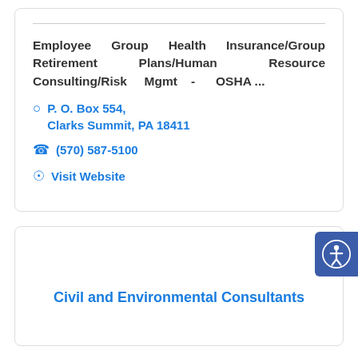Employee Group Health Insurance/Group Retirement Plans/Human Resource Consulting/Risk Mgmt - OSHA ...
P. O. Box 554, Clarks Summit, PA 18411
(570) 587-5100
Visit Website
Civil and Environmental Consultants